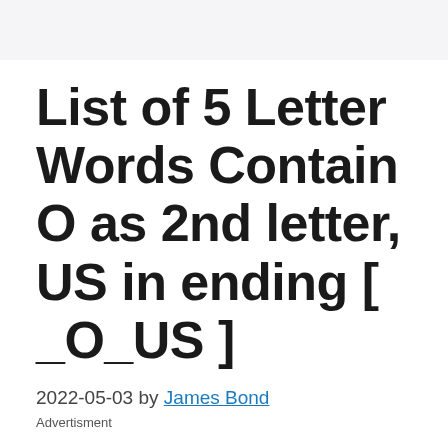List of 5 Letter Words Contain O as 2nd letter, US in ending [ _O_US ]
2022-05-03 by James Bond
Advertisment